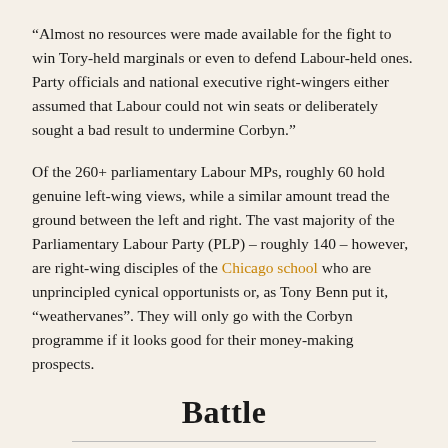“Almost no resources were made available for the fight to win Tory-held marginals or even to defend Labour-held ones. Party officials and national executive right-wingers either assumed that Labour could not win seats or deliberately sought a bad result to undermine Corbyn.”
Of the 260+ parliamentary Labour MPs, roughly 60 hold genuine left-wing views, while a similar amount tread the ground between the left and right. The vast majority of the Parliamentary Labour Party (PLP) – roughly 140 – however, are right-wing disciples of the Chicago school who are unprincipled cynical opportunists or, as Tony Benn put it, “weathervanes”. They will only go with the Corbyn programme if it looks good for their money-making prospects.
Battle
This illustrates the battle Corbyn and his supporters are up